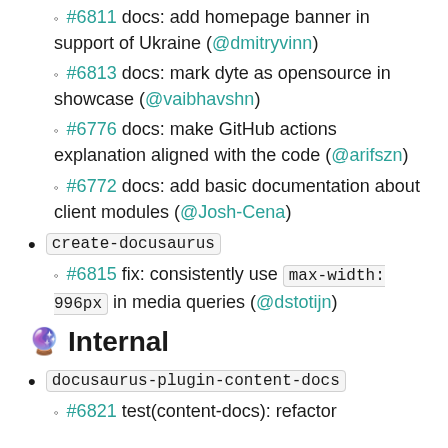#6811 docs: add homepage banner in support of Ukraine (@dmitryvinn)
#6813 docs: mark dyte as opensource in showcase (@vaibhavshn)
#6776 docs: make GitHub actions explanation aligned with the code (@arifszn)
#6772 docs: add basic documentation about client modules (@Josh-Cena)
create-docusaurus
#6815 fix: consistently use max-width: 996px in media queries (@dstotijn)
🔮 Internal
docusaurus-plugin-content-docs
#6821 test(content-docs): refactor